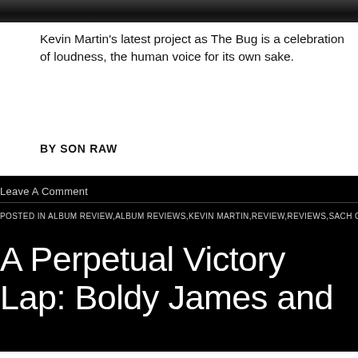[Figure (photo): Dark partial image strip at the top of the page, showing a dark garment or background]
Kevin Martin's latest project as The Bug is a celebration of loudness, the human voice for its own sake.
BY SON RAW
Leave A Comment
POSTED IN ALBUM REVIEW,ALBUM REVIEWS,KEVIN MARTIN,REVIEW,REVIEWS,SACH O,SON R...
A Perpetual Victory Lap: Boldy James and